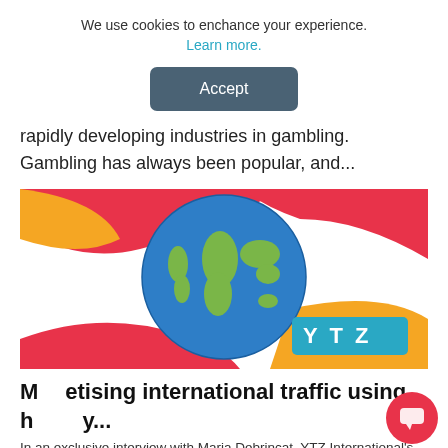We use cookies to enchance your experience. Learn more.
Accept
rapidly developing industries in gambling. Gambling has always been popular, and...
[Figure (illustration): Globe showing world map with YTZ logo, on a red, yellow, and white abstract background]
Monetising international traffic using h...y...
In an exclusive interview with Maria Debrincat, YTZ International's VP of Sales Megan Sagriff, speaks about how her company's values